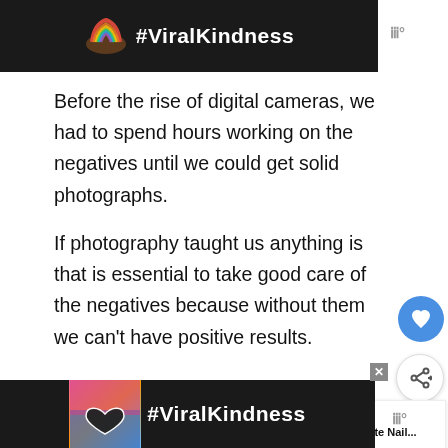[Figure (screenshot): Top advertisement banner with rainbow graphic and #ViralKindness hashtag on dark background]
Before the rise of digital cameras, we had to spend hours working on the negatives until we could get solid photographs.
If photography taught us anything is that is essential to take good care of the negatives because without them we can't have positive results.
Try this style that uses the pattern concept not in only in positive spaces but also in the
[Figure (screenshot): Bottom advertisement banner with #ViralKindness hashtag, hands forming heart shape on sunset background]
[Figure (infographic): What's Next card: 80 Striking White Nail... with thumbnail of nail image]